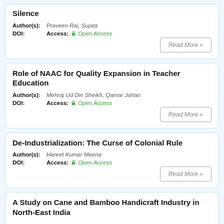Silence
Author(s): Praveen Rai, Sujata
DOI:   Access: Open Access
Read More »
Role of NAAC for Quality Expansion in Teacher Education
Author(s): Mehraj Ud Din Sheikh, Qamar Jahan
DOI:   Access: Open Access
Read More »
De-Industrialization: The Curse of Colonial Rule
Author(s): Hareet Kumar Meena
DOI:   Access: Open Access
Read More »
A Study on Cane and Bamboo Handicraft Industry in North-East India